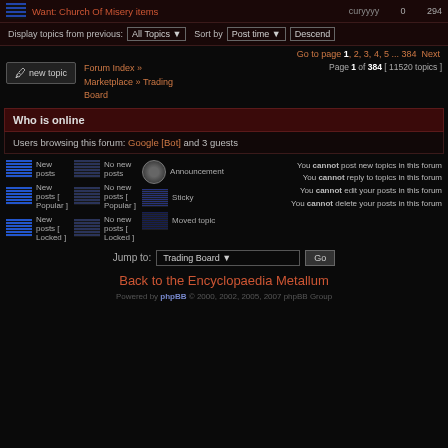Want: Church Of Misery items | curyyyy | 0 | 294
Display topics from previous: All Topics | Sort by: Post time | Descending
Go to page 1, 2, 3, 4, 5 ... 384 Next
Forum Index » Marketplace » Trading Board
Page 1 of 384 [ 11520 topics ]
Who is online
Users browsing this forum: Google [Bot] and 3 guests
New posts / No new posts / Announcement / Sticky / Moved topic legend
You cannot post new topics in this forum
You cannot reply to topics in this forum
You cannot edit your posts in this forum
You cannot delete your posts in this forum
Jump to: Trading Board  Go
Back to the Encyclopaedia Metallum
Powered by phpBB © 2000, 2002, 2005, 2007 phpBB Group